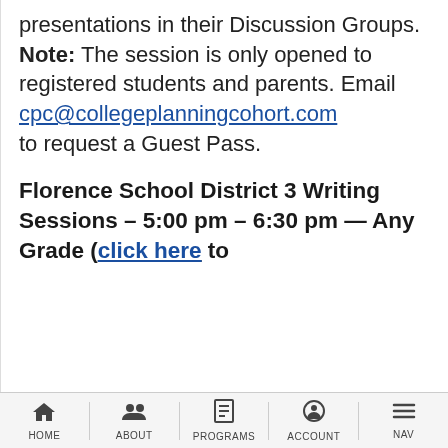presentations in their Discussion Groups. Note: The session is only opened to registered students and parents. Email cpc@collegeplanningcohort.com to request a Guest Pass.
Florence School District 3 Writing Sessions – 5:00 pm – 6:30 pm — Any Grade (click here to register/meeting ID 000-5763-6187)
HOME  ABOUT  PROGRAMS  ACCOUNT  NAV